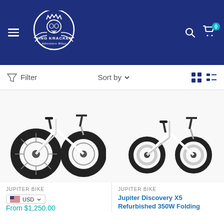[Figure (logo): King Kracken Adventure Bikes logo — white skull with crown and tentacles inside a circular arch, white text on dark blue background]
Filter
Sort by
[Figure (photo): White fat-tire folding electric bike (Jupiter Bike) on white background, side view showing large knobby tires]
[Figure (photo): White compact folding electric bike (Jupiter Discovery X5) on white background, side view with smaller wheels]
JUPITER BIKE
JUPITER BIKE
USD
From $1,250.00
Jupiter Discovery X5 Refurbished 350W Folding